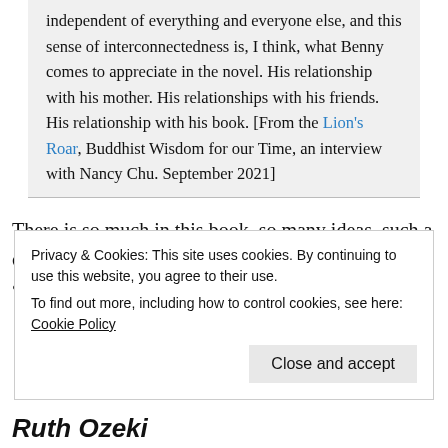independent of everything and everyone else, and this sense of interconnectedness is, I think, what Benny comes to appreciate in the novel. His relationship with his mother. His relationships with his friends. His relationship with his book. [From the Lion's Roar, Buddhist Wisdom for our Time, an interview with Nancy Chu. September 2021]
There is so much in this book, so many ideas, such a call for the recognition and importance of difference and connection that I would like
Privacy & Cookies: This site uses cookies. By continuing to use this website, you agree to their use.
To find out more, including how to control cookies, see here: Cookie Policy
Close and accept
Ruth Ozeki